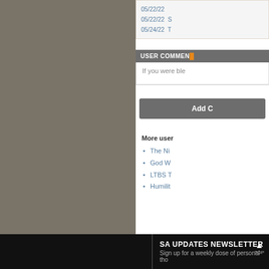05/22/22
05/22/22  S
05/24/22  T
USER COMMENTS
If you were ble
Add C
More user
The Ni
God W
LTBS T
Humilit
SA UPDATES NEWSLETTER
Sign up for a weekly dose of personal tho
TOP